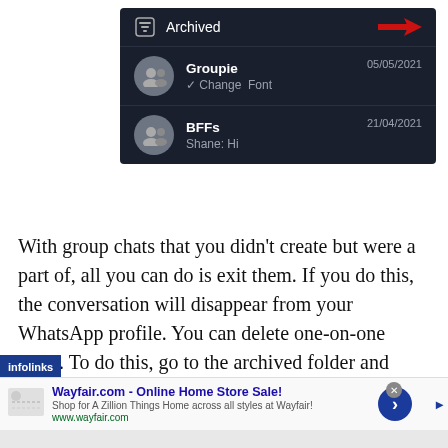[Figure (screenshot): WhatsApp archived chats screen showing 'Archived' header with red arrow annotation, 'Groupie' group chat dated 05/05/2021 with preview 'Change Font', and 'BFFs' group chat dated 21/04/2021 with preview 'Shane: Hi']
With group chats that you didn't create but were a part of, all you can do is exit them. If you do this, the conversation will disappear from your WhatsApp profile. You can delete one-on-one chats. To do this, go to the archived folder and either swipe left on iOS devices or tap and hold
[Figure (screenshot): Infolinks ad banner for Wayfair.com - Online Home Store Sale! with text 'Shop for A Zillion Things Home across all styles at Wayfair!' and URL www.wayfair.com]